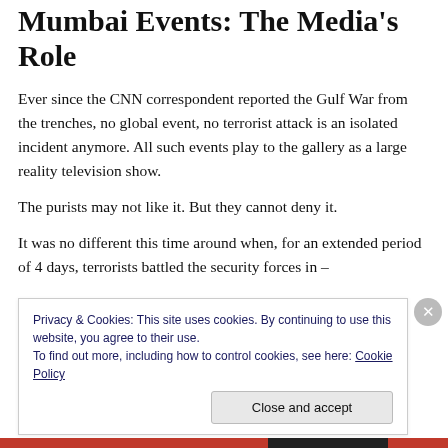Mumbai Events: The Media's Role
Ever since the CNN correspondent reported the Gulf War from the trenches, no global event, no terrorist attack is an isolated incident anymore. All such events play to the gallery as a large reality television show.
The purists may not like it. But they cannot deny it.
It was no different this time around when, for an extended period of 4 days, terrorists battled the security forces in
Privacy & Cookies: This site uses cookies. By continuing to use this website, you agree to their use.
To find out more, including how to control cookies, see here: Cookie Policy
Close and accept